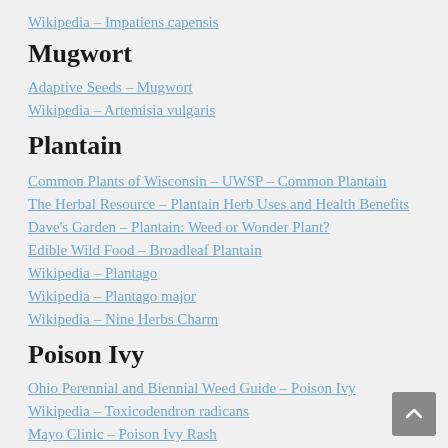Wikipedia – Impatiens capensis
Mugwort
Adaptive Seeds – Mugwort
Wikipedia – Artemisia vulgaris
Plantain
Common Plants of Wisconsin – UWSP – Common Plantain
The Herbal Resource – Plantain Herb Uses and Health Benefits
Dave's Garden – Plantain: Weed or Wonder Plant?
Edible Wild Food – Broadleaf Plantain
Wikipedia – Plantago
Wikipedia – Plantago major
Wikipedia – Nine Herbs Charm
Poison Ivy
Ohio Perennial and Biennial Weed Guide – Poison Ivy
Wikipedia – Toxicodendron radicans
Mayo Clinic – Poison Ivy Rash